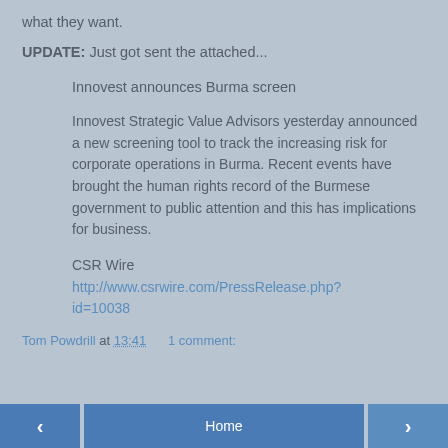what they want.
UPDATE: Just got sent the attached...
Innovest announces Burma screen
Innovest Strategic Value Advisors yesterday announced a new screening tool to track the increasing risk for corporate operations in Burma. Recent events have brought the human rights record of the Burmese government to public attention and this has implications for business.
CSR Wire
http://www.csrwire.com/PressRelease.php?id=10038
Tom Powdrill at 13:41    1 comment:
< Home >